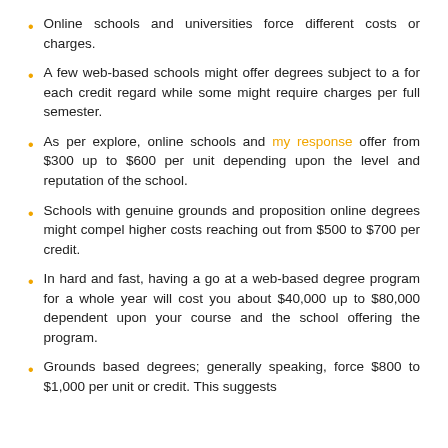Online schools and universities force different costs or charges.
A few web-based schools might offer degrees subject to a for each credit regard while some might require charges per full semester.
As per explore, online schools and my response offer from $300 up to $600 per unit depending upon the level and reputation of the school.
Schools with genuine grounds and proposition online degrees might compel higher costs reaching out from $500 to $700 per credit.
In hard and fast, having a go at a web-based degree program for a whole year will cost you about $40,000 up to $80,000 dependent upon your course and the school offering the program.
Grounds based degrees; generally speaking, force $800 to $1,000 per unit or credit. This suggests